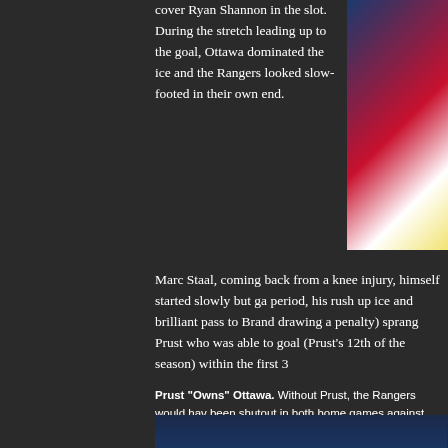cover Ryan Shannon in the slot. During the stretch leading up to the goal, Ottawa dominated the ice and the Rangers looked slow-footed in their own end.
[Figure (photo): Hockey player in New York Rangers uniform on ice]
Marc Staal, coming back from a knee injury, himself started slowly but ga... period, his rush up ice and brilliant pass to Brand... drawing a penalty) sprang Prust who was able to... goal (Prust's 12th of the season) within the first 3...
Prust "Owns" Ottawa. Without Prust, the Rangers would hav... been shutout in both home games against Ottawa.
[Figure (photo): Hockey players in New York Rangers uniforms on ice with crowd in background]